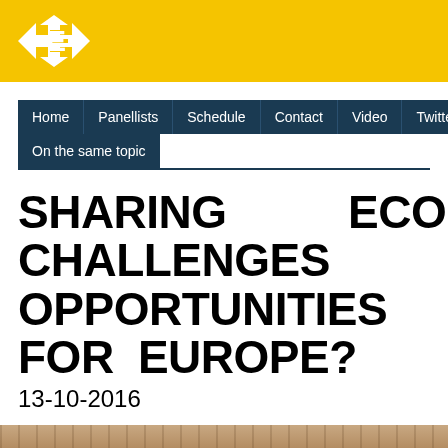[Figure (logo): YE logo — white star/arrow and letter E on yellow background]
Home | Panellists | Schedule | Contact | Video | Twitter | On the same topic
SHARING ECONOMY: WHAT CHALLENGES AND OPPORTUNITIES FOR EUROPE?
13-10-2016
[Figure (photo): Partial photo of a person at a table, bottom of page]